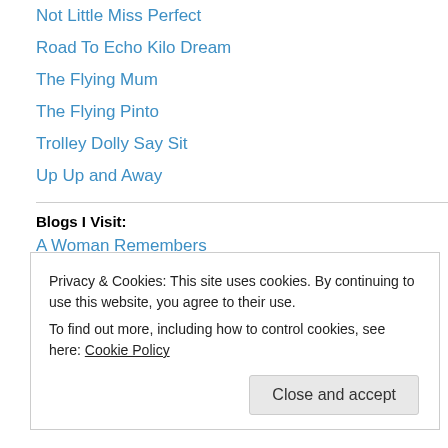Not Little Miss Perfect
Road To Echo Kilo Dream
The Flying Mum
The Flying Pinto
Trolley Dolly Say Sit
Up Up and Away
Blogs I Visit:
A Woman Remembers
Bloggista
Business Guide
Pinoy Money Talk
Privacy & Cookies: This site uses cookies. By continuing to use this website, you agree to their use. To find out more, including how to control cookies, see here: Cookie Policy